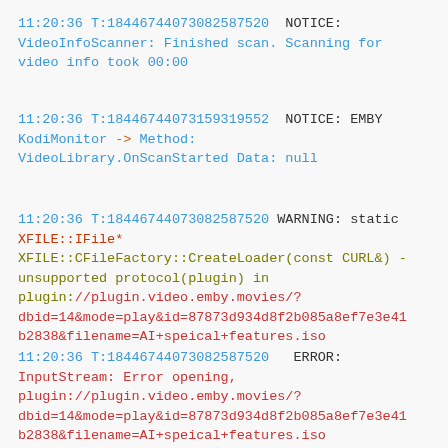11:20:36 T:18446744073082587520  NOTICE: VideoInfoScanner: Finished scan. Scanning for video info took 00:00
11:20:36 T:18446744073159319552  NOTICE: EMBY KodiMonitor -> Method: VideoLibrary.OnScanStarted Data: null
11:20:36 T:18446744073082587520  WARNING: static XFILE::IFile* XFILE::CFileFactory::CreateLoader(const CURL&) - unsupported protocol(plugin) in plugin://plugin.video.emby.movies/?dbid=14&mode=play&id=87873d934d8f2b085a8ef7e3e41b2838&filename=AI+speical+features.iso
11:20:36 T:18446744073082587520   ERROR: InputStream: Error opening, plugin://plugin.video.emby.movies/?dbid=14&mode=play&id=87873d934d8f2b085a8ef7e3e41b2838&filename=AI+speical+features.iso